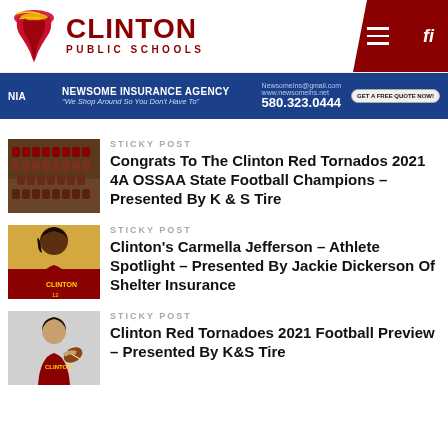Clinton Public Schools
[Figure (other): Newsome Insurance Agency advertisement banner with phone number 580.323.0444]
STICKY POST
Congrats To The Clinton Red Tornados 2021 4A OSSAA State Football Champions – Presented By K & S Tire
STICKY POST
Clinton's Carmella Jefferson – Athlete Spotlight – Presented By Jackie Dickerson Of Shelter Insurance
STICKY POST
Clinton Red Tornadoes 2021 Football Preview – Presented By K&S Tire